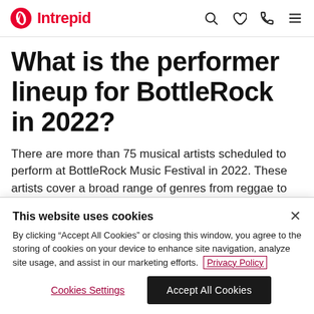Intrepid
What is the performer lineup for BottleRock in 2022?
There are more than 75 musical artists scheduled to perform at BottleRock Music Festival in 2022. These artists cover a broad range of genres from reggae to
This website uses cookies
By clicking "Accept All Cookies" or closing this window, you agree to the storing of cookies on your device to enhance site navigation, analyze site usage, and assist in our marketing efforts.  Privacy Policy
Cookies Settings   Accept All Cookies